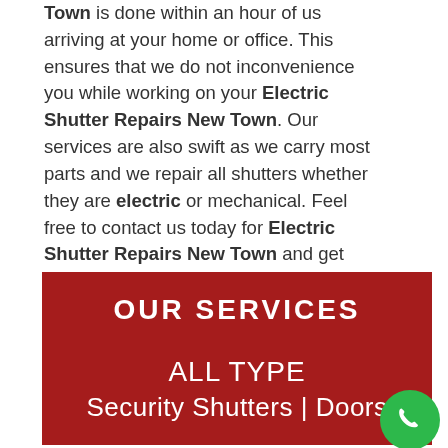Town is done within an hour of us arriving at your home or office. This ensures that we do not inconvenience you while working on your Electric Shutter Repairs New Town. Our services are also swift as we carry most parts and we repair all shutters whether they are electric or mechanical. Feel free to contact us today for Electric Shutter Repairs New Town and get your free quotation.
[Figure (infographic): Dark red banner panel with white text reading 'OUR SERVICES' in bold uppercase, followed by 'ALL TYPE' and 'Security Shutters | Doors' with a green phone button circle in the bottom right corner.]